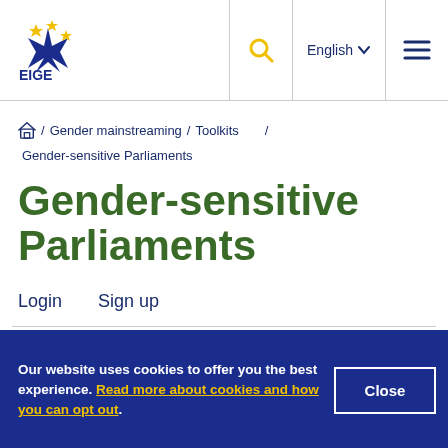[Figure (logo): EIGE logo with blue star and yellow stars, text EIGE]
/ Gender mainstreaming / Toolkits / Gender-sensitive Parliaments
Gender-sensitive Parliaments
Login   Sign up
Our website uses cookies to offer you the best experience. Read more about cookies and how you can opt out.